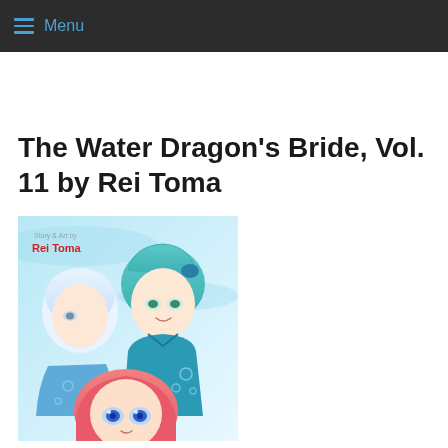Menu
The Water Dragon's Bride, Vol. 11 by Rei Toma
[Figure (illustration): Manga book cover for 'The Water Dragon's Bride Vol. 11' by Rei Toma, showing anime-style characters including a white-haired figure, a teal-haired girl, and a pink-haired girl with blue eyes, with water/bubble motifs and the author name 'Rei Toma' in red text.]